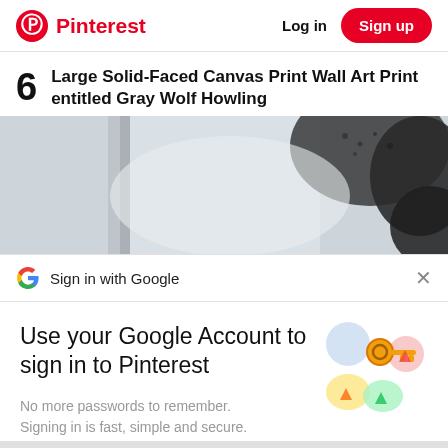Pinterest  Log in  Sign up
6  Large Solid-Faced Canvas Print Wall Art Print entitled Gray Wolf Howling
[Figure (photo): Partial photo of a gray wolf, close-up of dark fur against a blurred white/gray background]
Sign in with Google
Use your Google Account to sign in to Pinterest
No more passwords to remember. Signing in is fast, simple and secure.
[Figure (illustration): Google account illustration: a golden key floating above colorful circular icons (blue, yellow, green, red/pink)]
Continue